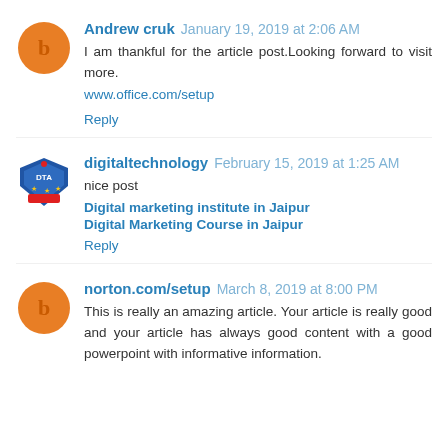Andrew cruk  January 19, 2019 at 2:06 AM
I am thankful for the article post.Looking forward to visit more.
www.office.com/setup
Reply
digitaltechnology  February 15, 2019 at 1:25 AM
nice post
Digital marketing institute in Jaipur
Digital Marketing Course in Jaipur
Reply
norton.com/setup  March 8, 2019 at 8:00 PM
This is really an amazing article. Your article is really good and your article has always good content with a good powerpoint with informative information.